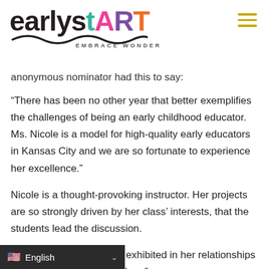[Figure (logo): earlystART Embrace Wonder logo with colorful lettering and wavy underline]
anonymous nominator had this to say:
“There has been no other year that better exemplifies the challenges of being an early childhood educator. Ms. Nicole is a model for high-quality early educators in Kansas City and we are so fortunate to experience her excellence.”
Nicole is a thought-provoking instructor. Her projects are so strongly driven by her class’ interests, that the students lead the discussion.
“Nicole is kind and this is exhibited in her relationships with families and the children.”
English